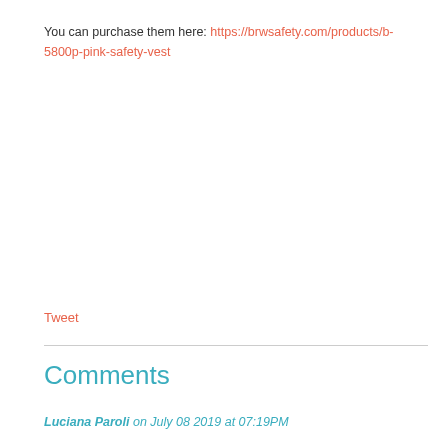You can purchase them here: https://brwsafety.com/products/b-5800p-pink-safety-vest
Tweet
Comments
Luciana Paroli on July 08 2019 at 07:19PM